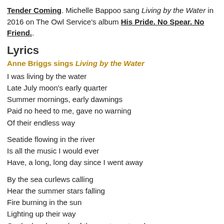Tender Coming. Michelle Bappoo sang Living by the Water in 2016 on The Owl Service's album His Pride. No Spear. No Friend..
Lyrics
Anne Briggs sings Living by the Water
I was living by the water
Late July moon's early quarter
Summer mornings, early dawnings
Paid no heed to me, gave no warning
Of their endless way
Seatide flowing in the river
Is all the music I would ever
Have, a long, long day since I went away
By the sea curlews calling
Hear the summer stars falling
Fire burning in the sun
Lighting up their way
On the lonely sands of the western strands
It was there I made my way
On the mountain there my song I'll sing